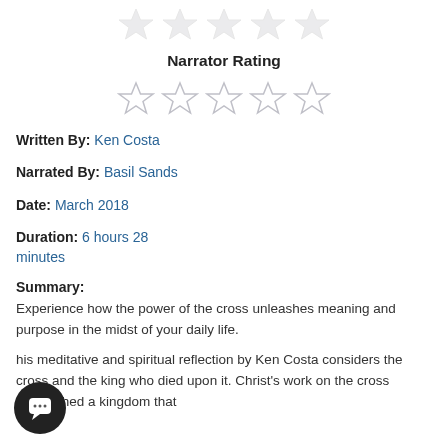[Figure (other): 5 empty/grey stars rating row at top (partial, cropped)]
Narrator Rating
[Figure (other): 5 empty/grey stars for Narrator Rating]
Written By: Ken Costa
Narrated By: Basil Sands
Date: March 2018
Duration: 6 hours 28 minutes
Summary:
Experience how the power of the cross unleashes meaning and purpose in the midst of your daily life.
his meditative and spiritual reflection by Ken Costa considers the cross and the king who died upon it. Christ's work on the cross established a kingdom that